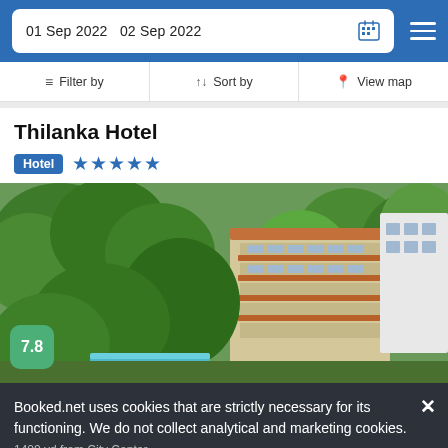01 Sep 2022   02 Sep 2022
Filter by   Sort by   View map
Thilanka Hotel
Hotel ★★★★★
[Figure (photo): Aerial view of Thilanka Hotel surrounded by lush green trees, multi-storey building with terracotta roof visible, pool area at bottom, score badge showing 7.8]
Booked.net uses cookies that are strictly necessary for its functioning. We do not collect analytical and marketing cookies.
1400 yd from City Center